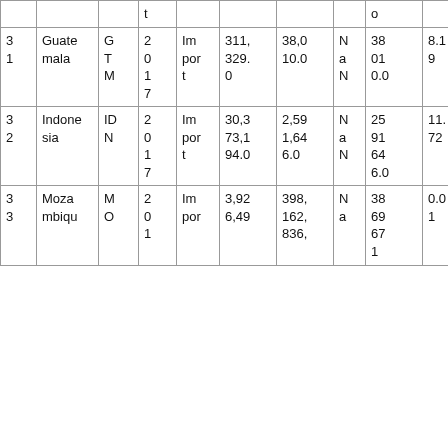|  |  |  |  |  |  |  |  |  |  |
| 3
1 | Guate
mala | G
T
M | 2
0
1
7 | Im
por
t | 311,
329.
0 | 38,0
10.0 | N
a
N | 38
01
0.0 | 8.1
9 |
| 3
2 | Indone
sia | ID
N | 2
0
1
7 | Im
por
t | 30,3
73,1
94.0 | 2,59
1,64
6.0 | N
a
N | 25
91
64
6.0 | 11.
72 |
| 3
3 | Moza
mbiqu | M
O | 2
0
1 | Im
por | 3,92
6,49 | 398,
162,
836, | N
a | 38
69
67
1 | 0.0
1 |